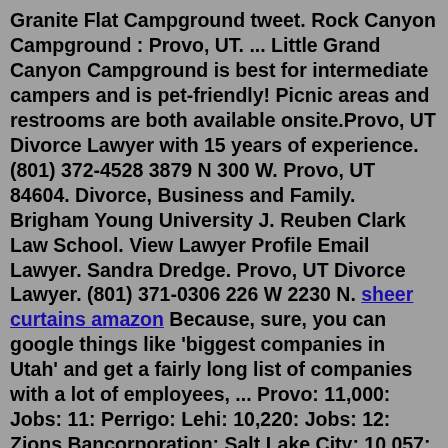Granite Flat Campground tweet. Rock Canyon Campground : Provo, UT. ... Little Grand Canyon Campground is best for intermediate campers and is pet-friendly! Picnic areas and restrooms are both available onsite.Provo, UT Divorce Lawyer with 15 years of experience. (801) 372-4528 3879 N 300 W. Provo, UT 84604. Divorce, Business and Family. Brigham Young University J. Reuben Clark Law School. View Lawyer Profile Email Lawyer. Sandra Dredge. Provo, UT Divorce Lawyer. (801) 371-0306 226 W 2230 N. sheer curtains amazon Because, sure, you can google things like 'biggest companies in Utah' and get a fairly long list of companies with a lot of employees, ... Provo: 11,000: Jobs: 11: Perrigo: Lehi: 10,220: Jobs: 12: Zions Bancorporation: Salt Lake City: 10,057: Jobs: 13: ... Mapping The Best Coffee Shop In Each State. The 15 Largest Real Estate Companies In ...7. American Fork. One of the smaller cities on the list of most affordable, American Fork is a double suburb in Utah County, about 30 miles south of Salt Lake City and 15 miles south of Provo. Th...